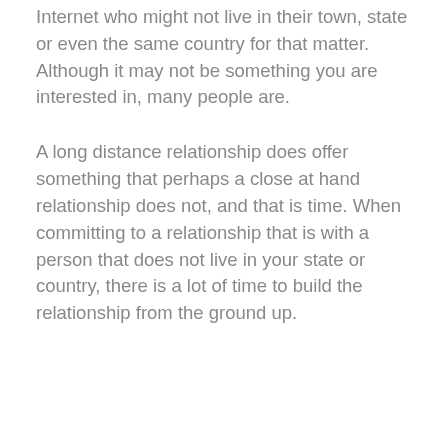Internet who might not live in their town, state or even the same country for that matter. Although it may not be something you are interested in, many people are.
A long distance relationship does offer something that perhaps a close at hand relationship does not, and that is time. When committing to a relationship that is with a person that does not live in your state or country, there is a lot of time to build the relationship from the ground up.